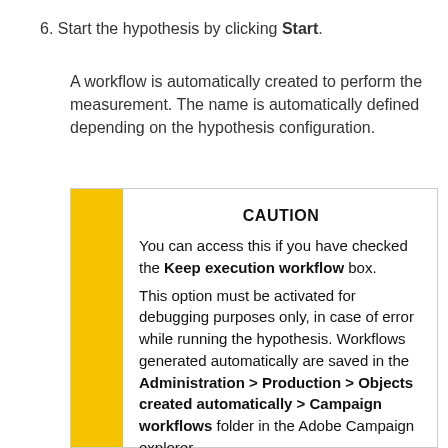6. Start the hypothesis by clicking Start.
A workflow is automatically created to perform the measurement. The name is automatically defined depending on the hypothesis configuration.
CAUTION
You can access this if you have checked the Keep execution workflow box.
This option must be activated for debugging purposes only, in case of error while running the hypothesis. Workflows generated automatically are saved in the Administration > Production > Objects created automatically > Campaign workflows folder in the Adobe Campaign explorer.
In addition, workflows generated automatically must not be modified. Any eventual modification would not be taken into account